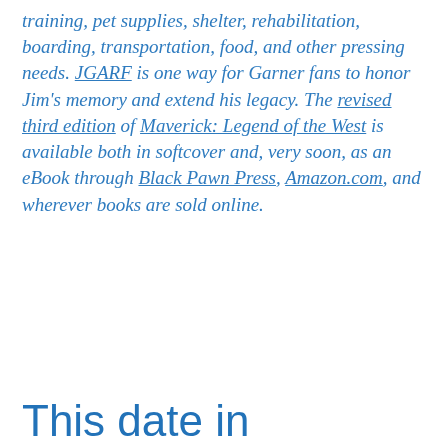training, pet supplies, shelter, rehabilitation, boarding, transportation, food, and other pressing needs. JGARF is one way for Garner fans to honor Jim's memory and extend his legacy. The revised third edition of Maverick: Legend of the West is available both in softcover and, very soon, as an eBook through Black Pawn Press, Amazon.com, and wherever books are sold online.
This date in